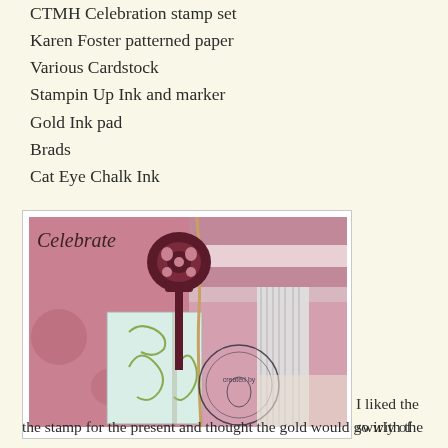Cricut Art Philosophy cartridge
CTMH Celebration stamp set
Karen Foster patterned paper
Various Cardstock
Stampin Up Ink and marker
Gold Ink pad
Brads
Cat Eye Chalk Ink
[Figure (photo): Close-up photo of a handmade scrapbook card featuring a dark burgundy key/tree Cricut die cut, a gift box with swirly green stamped design on light blue/white cardstock, pink patterned paper background, white ribbon, and a circular ladybug rubber stamp impression. The word 'Celebrate' is visible in script at the top left.]
I liked the swirly of the stamp for the present and thought the gold would go with the